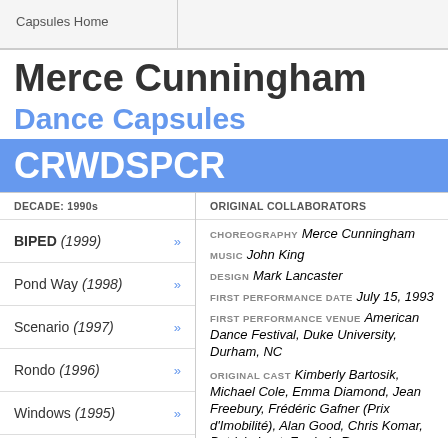Capsules Home
Merce Cunningham
Dance Capsules
CRWDSPCR
DECADE: 1990s
ORIGINAL COLLABORATORS
BIPED (1999)
Pond Way (1998)
Scenario (1997)
Rondo (1996)
Windows (1995)
CHOREOGRAPHY  Merce Cunningham
MUSIC  John King
DESIGN  Mark Lancaster
FIRST PERFORMANCE DATE  July 15, 1993
FIRST PERFORMANCE VENUE  American Dance Festival, Duke University, Durham, NC
ORIGINAL CAST  Kimberly Bartosik, Michael Cole, Emma Diamond, Jean Freebury, Frédéric Gafner (Prix d'Imobilité), Alan Good, Chris Komar, Patricia Lent, Frederic Rumsey, Jeannie Steele, Robert Swinston, Carol Teitelbaum